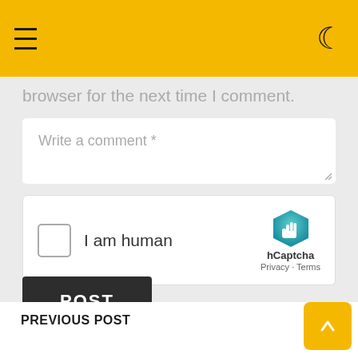browser for the next time I comment.
Write a comment *
[Figure (screenshot): hCaptcha widget with checkbox labeled 'I am human', hCaptcha logo, Privacy and Terms links]
POST
PREVIOUS POST